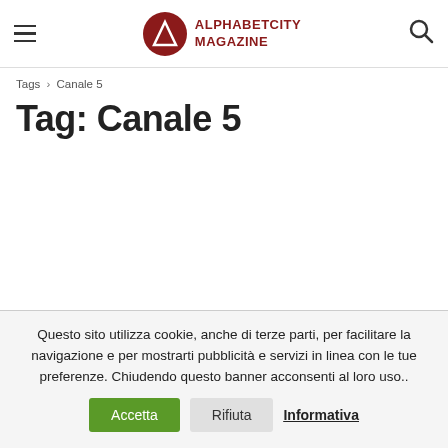ALPHABETCITY MAGAZINE
Tags › Canale 5
Tag: Canale 5
Questo sito utilizza cookie, anche di terze parti, per facilitare la navigazione e per mostrarti pubblicità e servizi in linea con le tue preferenze. Chiudendo questo banner acconsenti al loro uso.. Accetta Rifiuta Informativa